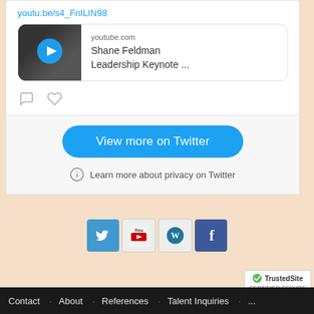youtu.be/s4_FnILIN98
[Figure (screenshot): YouTube video preview thumbnail showing Shane Feldman Leadership Keynote with a play button overlay, linked from youtube.com]
youtube.com
Shane Feldman
Leadership Keynote ...
View more on Twitter
Learn more about privacy on Twitter
[Figure (logo): Social media icons row: Twitter, YouTube, WordPress, Facebook]
[Figure (logo): TrustedSite Certified Secure badge]
Contact · About · References · Talent Inquiries · ...